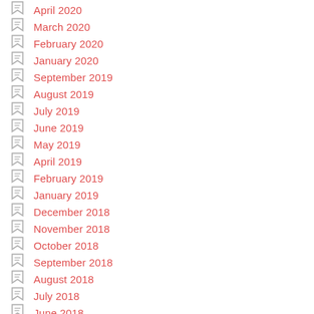April 2020
March 2020
February 2020
January 2020
September 2019
August 2019
July 2019
June 2019
May 2019
April 2019
February 2019
January 2019
December 2018
November 2018
October 2018
September 2018
August 2018
July 2018
June 2018